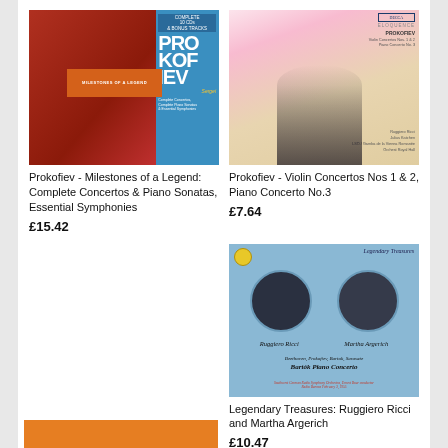[Figure (photo): Album cover: Prokofiev - Milestones of a Legend, red and blue design with composer portrait]
Prokofiev - Milestones of a Legend: Complete Concertos & Piano Sonatas, Essential Symphonies
£15.42
[Figure (photo): Album cover: Prokofiev Violin Concertos Nos 1 & 2, Piano Concerto No.3, Eloquence/Decca label with floral art and silhouette]
Prokofiev - Violin Concertos Nos 1 & 2, Piano Concerto No.3
£7.64
[Figure (photo): Album cover: Legendary Treasures - Ruggiero Ricci and Martha Argerich, light blue background with circular portraits]
Legendary Treasures: Ruggiero Ricci and Martha Argerich
£10.47